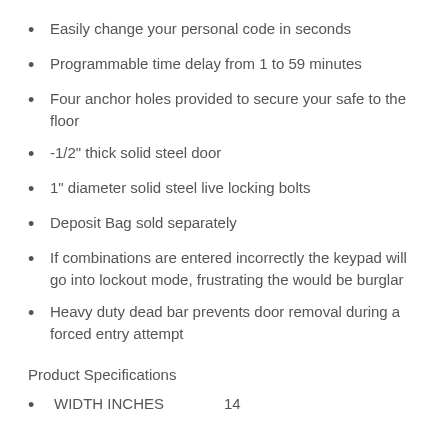Easily change your personal code in seconds
Programmable time delay from 1 to 59 minutes
Four anchor holes provided to secure your safe to the floor
-1/2" thick solid steel door
1" diameter solid steel live locking bolts
Deposit Bag sold separately
If combinations are entered incorrectly the keypad will go into lockout mode, frustrating the would be burglar
Heavy duty dead bar prevents door removal during a forced entry attempt
Product Specifications
WIDTH INCHES    14